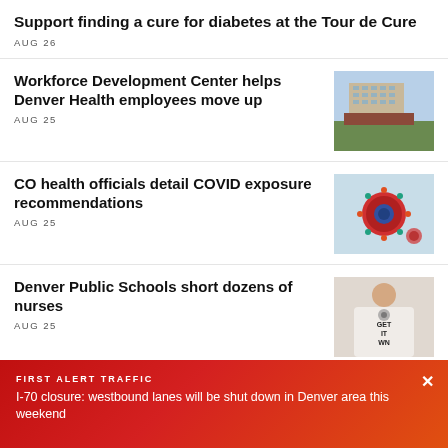Support finding a cure for diabetes at the Tour de Cure
AUG 26
Workforce Development Center helps Denver Health employees move up
AUG 25
[Figure (photo): Exterior of a multi-story brick and concrete building]
CO health officials detail COVID exposure recommendations
AUG 25
[Figure (photo): Close-up illustration of a coronavirus particle with red and blue spikes]
Denver Public Schools short dozens of nurses
AUG 25
[Figure (photo): Person wearing a white t-shirt that reads GET IT WN holding a stethoscope]
FIRST ALERT TRAFFIC
I-70 closure: westbound lanes will be shut down in Denver area this weekend